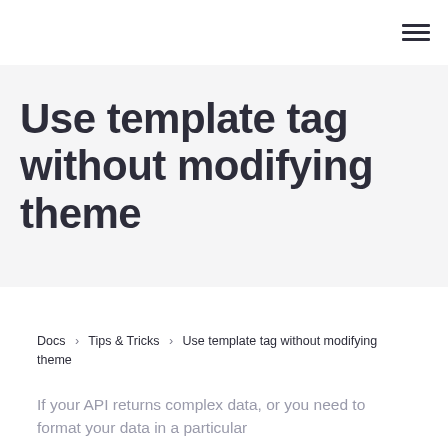☰
Use template tag without modifying theme
Docs  ›  Tips & Tricks  ›  Use template tag without modifying theme
If your API returns complex data, or you need to format your data in a particular